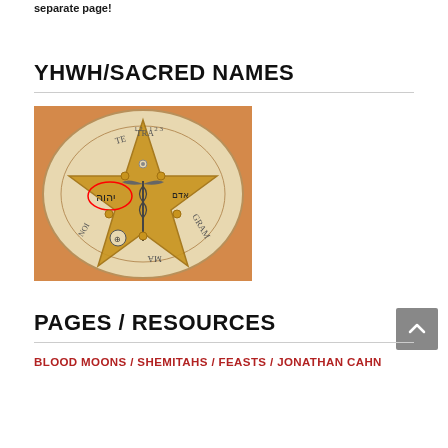separate page!
YHWH/SACRED NAMES
[Figure (illustration): A pentagram/tetragrammaton symbol on a circular disc with golden star, Hebrew letters including the Tetragrammaton (YHWH) circled in red, caduceus symbol in center, and text 'TETRAGRAMMA' around the star points]
PAGES / RESOURCES
BLOOD MOONS / SHEMITAHS / FEASTS / JONATHAN CAHN